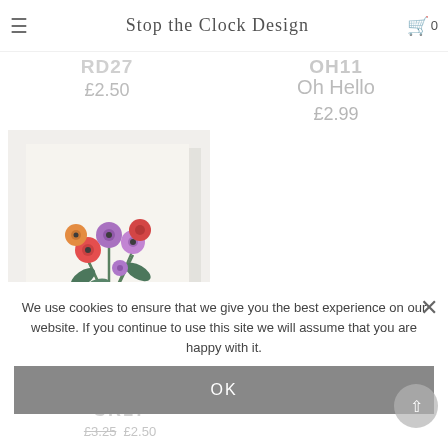Stop the Clock Design — navigation header with hamburger menu, logo, and cart (0)
RD27
£2.50
OH11
Oh Hello
£2.99
[Figure (photo): Greeting card with floral bouquet illustration — colourful flowers (red, purple, orange) in a peach vase with green leaves on a cream background, with 'HAPPY' text at the bottom]
CR17
£3.25  £2.50
We use cookies to ensure that we give you the best experience on our website. If you continue to use this site we will assume that you are happy with it.
OK